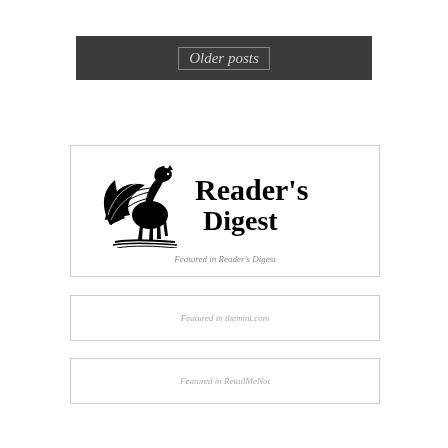Older posts
[Figure (logo): Reader's Digest logo with pegasus/winged horse illustration and text 'Reader's Digest']
Featured in Reader's Digest
Featured in themint.com
Featured in RetailMeNot